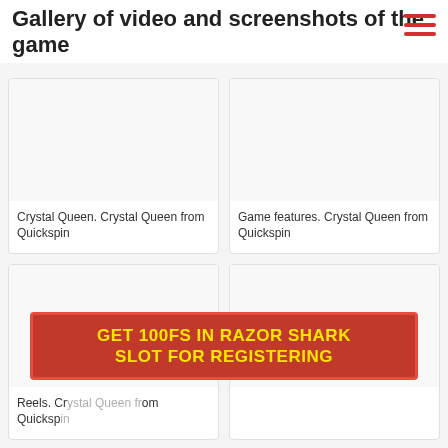Gallery of video and screenshots of the game
[Figure (screenshot): Blank placeholder image for Crystal Queen video thumbnail]
Crystal Queen. Crystal Queen from Quickspin
[Figure (screenshot): Blank placeholder image for Game features video thumbnail]
Game features. Crystal Queen from Quickspin
[Figure (screenshot): Blank placeholder image for Reels Crystal Queen video thumbnail]
Reels. Crystal Queen from Quickspin
[Figure (screenshot): Blank placeholder image for fourth video thumbnail]
GET 100FS IN RAZOR SHARK SLOT FOR REGISTERING